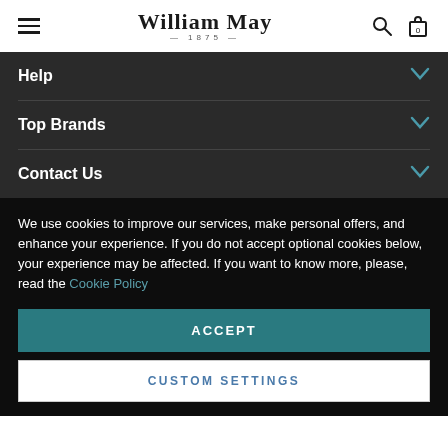William May 1875
Help
Top Brands
Contact Us
We use cookies to improve our services, make personal offers, and enhance your experience. If you do not accept optional cookies below, your experience may be affected. If you want to know more, please, read the Cookie Policy